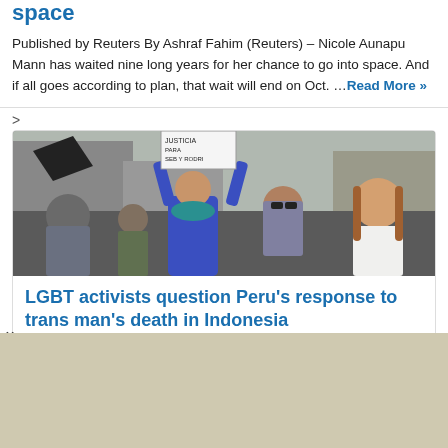space
Published by Reuters By Ashraf Fahim (Reuters) – Nicole Aunapu Mann has waited nine long years for her chance to go into space. And if all goes according to plan, that wait will end on Oct. …Read More »
>
[Figure (photo): Protest scene with people marching; one person in blue hoodie holding a sign reading 'JUSTICIA PARA SEB Y RODRI']
LGBT activists question Peru's response to trans man's death in Indonesia